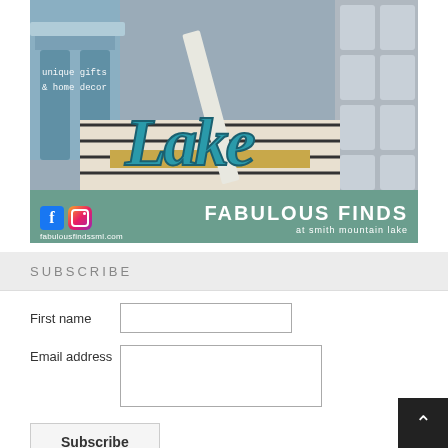[Figure (photo): Advertisement for Fabulous Finds at Smith Mountain Lake showing vintage/rustic home decor including a teal 'Lake' wooden sign, blue painted furniture, striped rug, and a green banner with Facebook and Instagram icons, website fabulousfindssml.com, and brand name FABULOUS FINDS at smith mountain lake]
SUBSCRIBE
First name
Email address
Subscribe